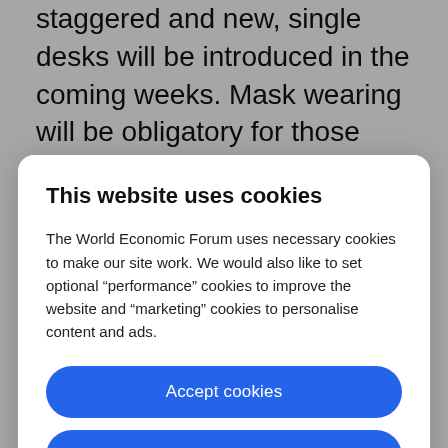staggered and new, single desks will be introduced in the coming weeks. Mask wearing will be obligatory for those arriving and leaving school, but they can be
This website uses cookies
The World Economic Forum uses necessary cookies to make our site work. We would also like to set optional “performance” cookies to improve the website and “marketing” cookies to personalise content and ads.
Accept cookies
Reject cookies
Cookie settings